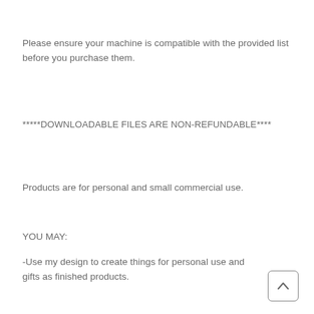Please ensure your machine is compatible with the provided list before you purchase them.
*****DOWNLOADABLE FILES ARE NON-REFUNDABLE****
Products are for personal and small commercial use.
YOU MAY:
-Use my design to create things for personal use and gifts as finished products.